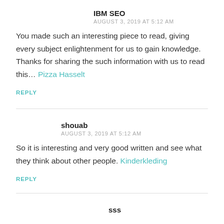IBM SEO
AUGUST 3, 2019 AT 5:12 AM
You made such an interesting piece to read, giving every subject enlightenment for us to gain knowledge. Thanks for sharing the such information with us to read this… Pizza Hasselt
REPLY
shouab
AUGUST 3, 2019 AT 5:12 AM
So it is interesting and very good written and see what they think about other people. Kinderkleding
REPLY
sss